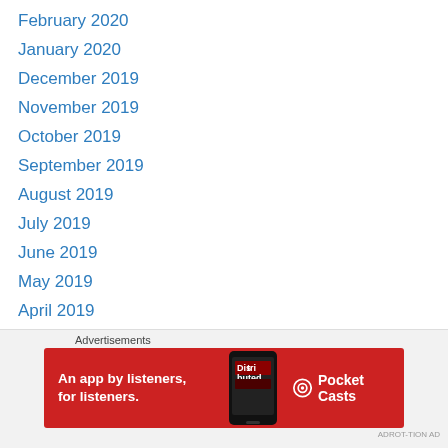February 2020
January 2020
December 2019
November 2019
October 2019
September 2019
August 2019
July 2019
June 2019
May 2019
April 2019
March 2019
February 2019
January 2019
December 2018
November 2018
Advertisements
[Figure (illustration): Pocket Casts advertisement banner: red background with phone image, text 'An app by listeners, for listeners.' and Pocket Casts logo]